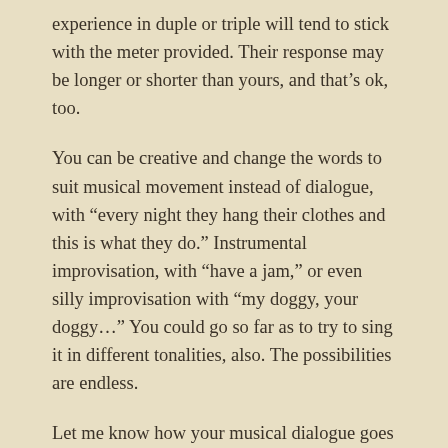experience in duple or triple will tend to stick with the meter provided. Their response may be longer or shorter than yours, and that's ok, too.
You can be creative and change the words to suit musical movement instead of dialogue, with “every night they hang their clothes and this is what they do.” Instrumental improvisation, with “have a jam,” or even silly improvisation with “my doggy, your doggy…” You could go so far as to try to sing it in different tonalities, also. The possibilities are endless.
Let me know how your musical dialogue goes and how you found how your little ones were most comfortable improvising!
*I first came across this rhyme used to start